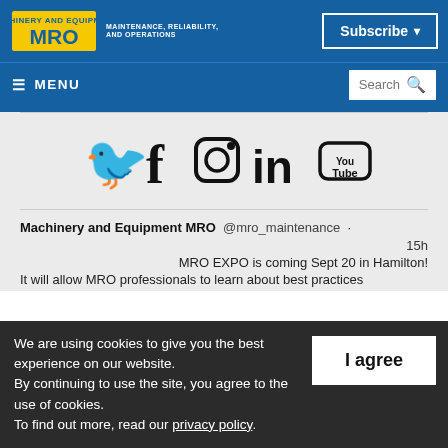[Figure (logo): MRO Magazine logo with yellow block letters and tagline: MAINTENANCE, RELIABILITY, AND OPERATIONS]
Subscribe ▾
☰ MENU
Search 🔍
[Figure (illustration): Social media icons row: Twitter bird, Facebook f, Instagram camera, LinkedIn in, YouTube logo]
Machinery and Equipment MRO  @mro_maintenance  ·
15h
MRO EXPO is coming Sept 20 in Hamilton!
It will allow MRO professionals to learn about best practices
We are using cookies to give you the best experience on our website.
By continuing to use the site, you agree to the use of cookies.
To find out more, read our privacy policy.
I agree